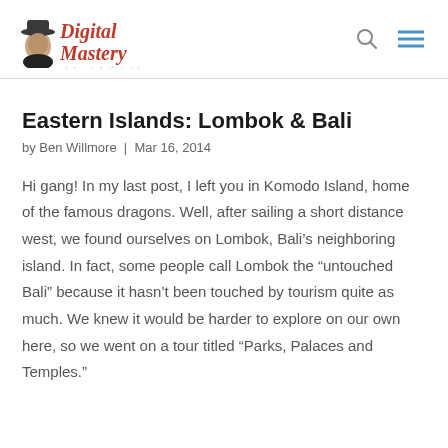Digital Mastery — wisdom + clarity + vision
Eastern Islands: Lombok & Bali
by Ben Willmore | Mar 16, 2014
Hi gang! In my last post, I left you in Komodo Island, home of the famous dragons. Well, after sailing a short distance west, we found ourselves on Lombok, Bali's neighboring island. In fact, some people call Lombok the “untouched Bali” because it hasn't been touched by tourism quite as much. We knew it would be harder to explore on our own here, so we went on a tour titled “Parks, Palaces and Temples.”